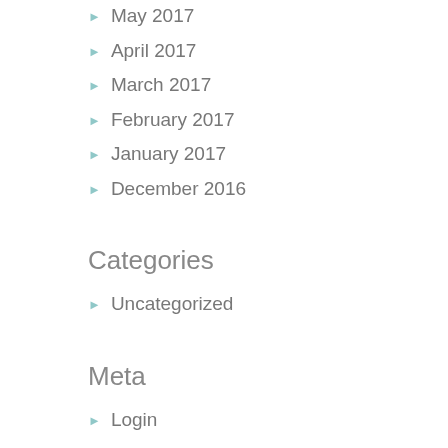May 2017
April 2017
March 2017
February 2017
January 2017
December 2016
Categories
Uncategorized
Meta
Login